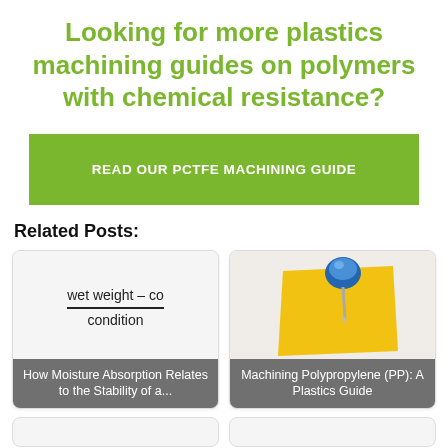Looking for more plastics machining guides on polymers with chemical resistance?
READ OUR PCTFE MACHINING GUIDE
Related Posts:
[Figure (illustration): Math formula: wet weight minus co over condition (fraction)]
How Moisture Absorption Relates to the Stability of a...
[Figure (illustration): Blue pushpin stuck into a yellow sticky note]
Machining Polypropylene (PP): A Plastics Guide